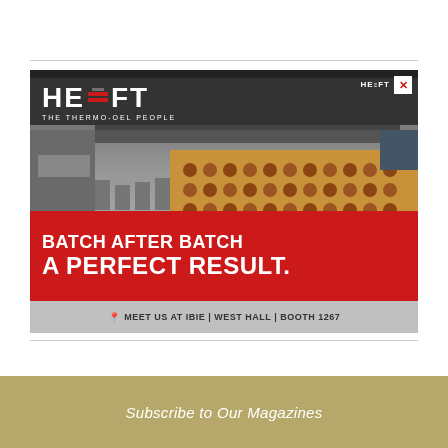[Figure (photo): HEUFT industrial oven/conveyor advertisement showing baked goods on a conveyor belt under a large industrial oven. Red banner reads 'BATCH AFTER BATCH A PERFECT RESULT.' with footer 'MEET US AT IBIE | WEST HALL | BOOTH 1267']
Subscribe to Our Magazines